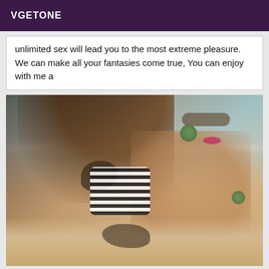VGETONE
unlimited sex will lead you to the most extreme pleasure. We can make all your fantasies come true, You can enjoy with me a
[Figure (photo): Woman in black and white striped bikini on a beach, with long dark hair blowing in wind, wearing sunglasses and large green earrings, with a tattoo visible on chest area]